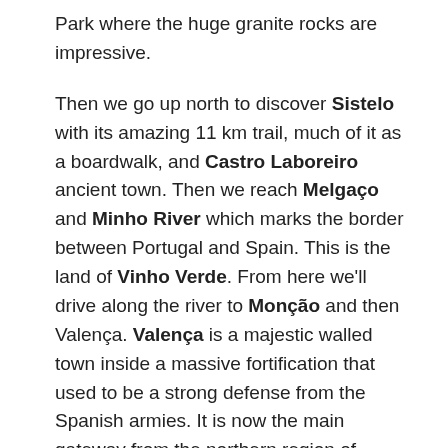Park where the huge granite rocks are impressive.
Then we go up north to discover Sistelo with its amazing 11 km trail, much of it as a boardwalk, and Castro Laboreiro ancient town. Then we reach Melgaço and Minho River which marks the border between Portugal and Spain. This is the land of Vinho Verde. From here we'll drive along the river to Monção and then Valença. Valença is a majestic walled town inside a massive fortification that used to be a strong defense from the Spanish armies. It is now the main gateway from the northern region of Portugal to Galicia in Spain. Vila Nova de Cerveira is a picturesque small town and in Caminha we can take a ferry-boat across the river to drive up Monte Santa Tecla for an amazing view of Minho River estuary.
Now driving south along the coast we'll find the northern